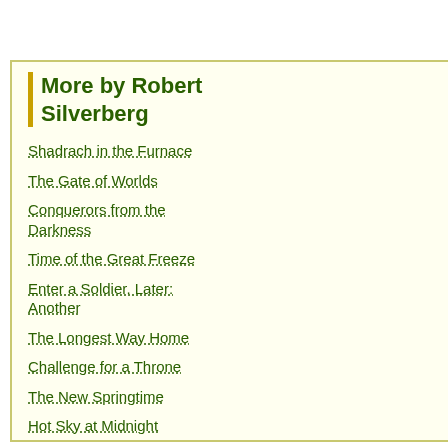manipulates genetic structures and lives... corporation, seeking promotion and surv... Rhodes introduces him to an acquaintan... sculptor, a passionate lover and a secre... over Valparaiso Nuevo along with Enron... individually motivated but the deadly con... leads to a dramatic conclusion that repli... own living space on the planet.

A bleak picture of future Earth and a con... together as one of Silverberg's finer nov...
More by Robert Silverberg
Shadrach in the Furnace
The Gate of Worlds
Conquerors from the Darkness
Time of the Great Freeze
Enter a Soldier. Later: Another
The Longest Way Home
Challenge for a Throne
The New Springtime
Hot Sky at Midnight
Scientists and Scoundrels
The Crusades
Buy from Amazon (paperback)
We hope you enjoy the book! If you like